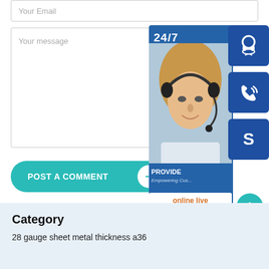Your Email
Your message
POST A COMMENT →
[Figure (infographic): Customer support widget overlay showing 24/7 support banner, a photo of a female customer support agent wearing a headset, three blue icon boxes (headset/support icon, phone icon, Skype icon), text reading PROVIDE and Empowering Cus..., and an online live button.]
Category
28 gauge sheet metal thickness a36